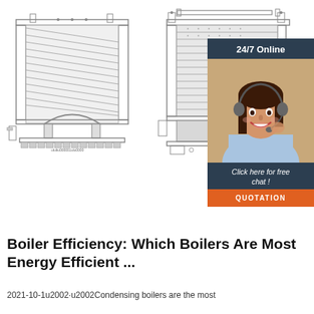[Figure (engineering-diagram): Two cross-section engineering schematic drawings of boilers side by side. Left drawing shows a front-view cutaway of a boiler with arched opening at bottom and diagonal ribbed heating elements. Right drawing shows a similar boiler from a different angle with horizontal tube elements and a door at the bottom front.]
[Figure (illustration): Advertisement banner with dark blue background showing '24/7 Online' header, a photo of a smiling woman with headset (customer service representative), text 'Click here for free chat!' and an orange button labeled 'QUOTATION']
Boiler Efficiency: Which Boilers Are Most Energy Efficient ...
2021-10-1u2002·u2002Condensing boilers are the most